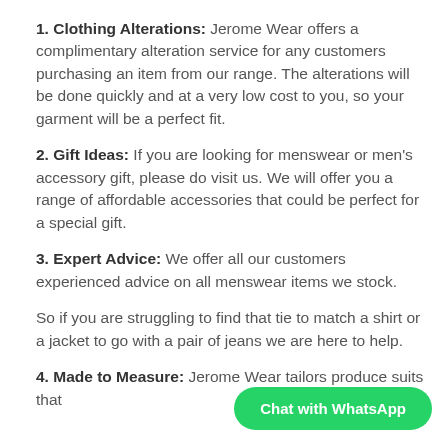1. Clothing Alterations: Jerome Wear offers a complimentary alteration service for any customers purchasing an item from our range. The alterations will be done quickly and at a very low cost to you, so your garment will be a perfect fit.
2. Gift Ideas: If you are looking for menswear or men's accessory gift, please do visit us. We will offer you a range of affordable accessories that could be perfect for a special gift.
3. Expert Advice: We offer all our customers experienced advice on all menswear items we stock.
So if you are struggling to find that tie to match a shirt or a jacket to go with a pair of jeans we are here to help.
4. Made to Measure: Jerome Wear tailors produce suits that
Chat with WhatsApp